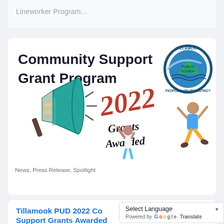Lineworker Program...
[Figure (illustration): Community Support Grant Program promotional image with Tillamook PUD logo, megaphone illustration, two celebrating figures, and text '2022 Grants Awarded' in red cursive and black handwritten style]
News, Press Release, Spotlight
Tillamook PUD 2022 Community Support Grants Awarded